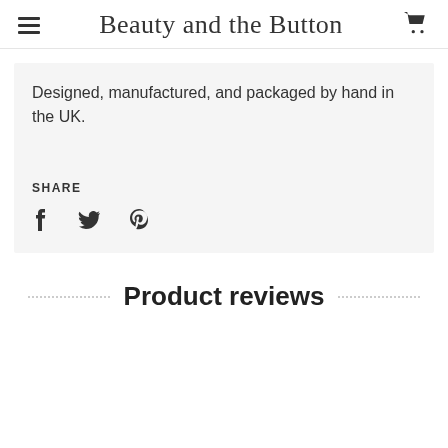Beauty and the Button
Designed, manufactured, and packaged by hand in the UK.
SHARE
Product reviews